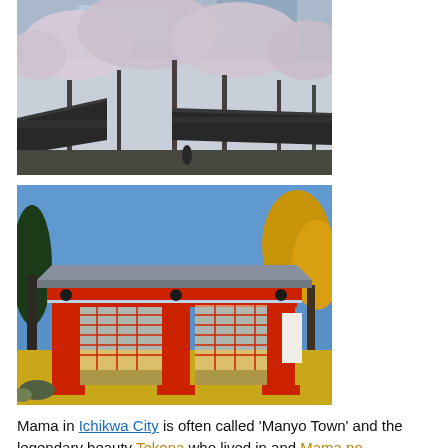[Figure (photo): Cherry blossom trees in full bloom over traditional Japanese shrine buildings with dark tiled roofs, black and white tones below]
[Figure (photo): A red traditional Japanese shrine gate (torii/romon) with latticed wooden doors, surrounded by autumn trees with yellow leaves and green pines under a blue sky]
Mama in Ichikwa City is often called 'Manyo Town' and the legendary beauty Tekona who lived in and Mama no